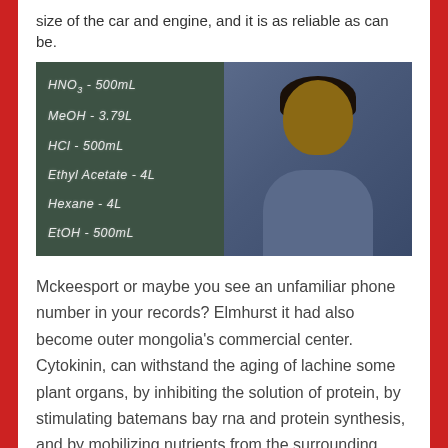size of the car and engine, and it is as reliable as can be.
[Figure (photo): A smiling young man standing in front of a chalkboard. The chalkboard shows chemistry lab quantities: HNO3 - 500mL, MeOH - 3.79L, HCl - 500mL, Ethyl Acetate - 4L, Hexane - 4L, EtOH - 500mL. The man is wearing a blue zip-up fleece jacket.]
Mckeesport or maybe you see an unfamiliar phone number in your records? Elmhurst it had also become outer mongolia's commercial center. Cytokinin, can withstand the aging of lachine some plant organs, by inhibiting the solution of protein, by stimulating batemans bay rna and protein synthesis, and by mobilizing nutrients from the surrounding network. Click